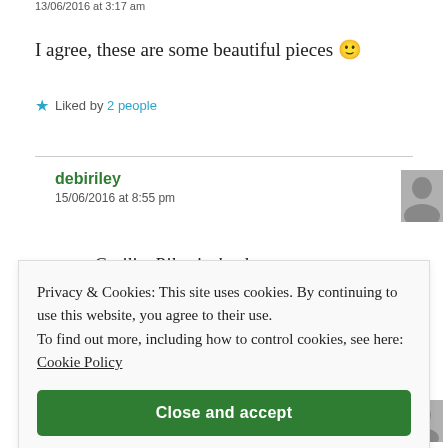13/06/2016 at 3:17 am
I agree, these are some beautiful pieces 🙂
★ Liked by 2 people
debiriley
15/06/2016 at 8:55 pm
Privacy & Cookies: This site uses cookies. By continuing to use this website, you agree to their use.
To find out more, including how to control cookies, see here: Cookie Policy
Close and accept
debiriley
15/06/2016 at 8:54